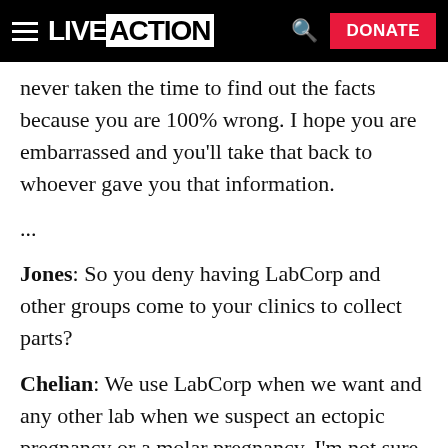LIVE ACTION | DONATE
never taken the time to find out the facts because you are 100% wrong. I hope you are embarrassed and you'll take that back to whoever gave you that information.
...
Jones: So you deny having LabCorp and other groups come to your clinics to collect parts?
Chelian: We use LabCorp when we want and any other lab when we suspect an ectopic pregnancy or a molar pregnancy. I'm not sure since you're not a medical person that you know what that is and I would be happy to tell you if you would like to know. But those are medical problems that